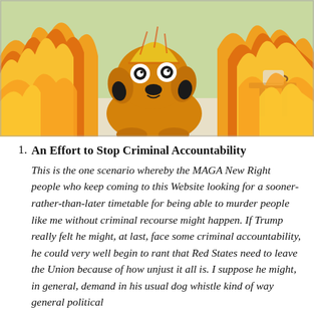[Figure (illustration): The 'This is fine' meme: a cartoon dog sitting in a room surrounded by flames, wearing a hat, with a small table and coffee cup nearby, on a green-tinted background.]
An Effort to Stop Criminal Accountability This is the one scenario whereby the MAGA New Right people who keep coming to this Website looking for a sooner-rather-than-later timetable for being able to murder people like me without criminal recourse might happen. If Trump really felt he might, at last, face some criminal accountability, he could very well begin to rant that Red States need to leave the Union because of how unjust it all is. I suppose he might, in general, demand in his usual dog whistle kind of way general political